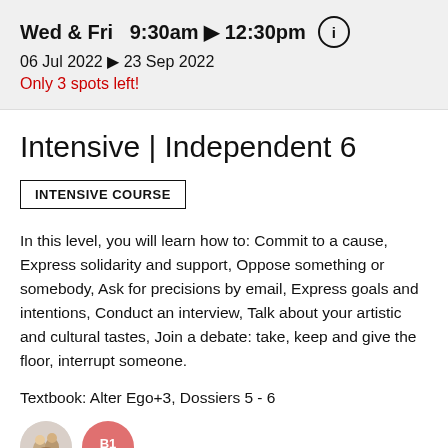Wed & Fri  9:30am ▶ 12:30pm  (i)
06 Jul 2022 ▶ 23 Sep 2022
Only 3 spots left!
Intensive | Independent 6
INTENSIVE COURSE
In this level, you will learn how to: Commit to a cause, Express solidarity and support, Oppose something or somebody, Ask for precisions by email, Express goals and intentions, Conduct an interview, Talk about your artistic and cultural tastes, Join a debate: take, keep and give the floor, interrupt someone.
Textbook: Alter Ego+3, Dossiers 5 - 6
[Figure (illustration): Two circular avatar icons: one showing a group of people photo, and one pink/salmon circle with 'B1' text label]